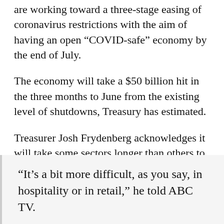are working toward a three-stage easing of coronavirus restrictions with the aim of having an open “COVID-safe” economy by the end of July.
The economy will take a $50 billion hit in the three months to June from the existing level of shutdowns, Treasury has estimated.
Treasurer Josh Frydenberg acknowledges it will take some sectors longer than others to return to normality.
“It’s a bit more difficult, as you say, in hospitality or in retail,” he told ABC TV.
“What we’re looking to do is to give confidence to the employers that they can get back into business because obviously they have to eat up what is left of their working capital in order to reopen and